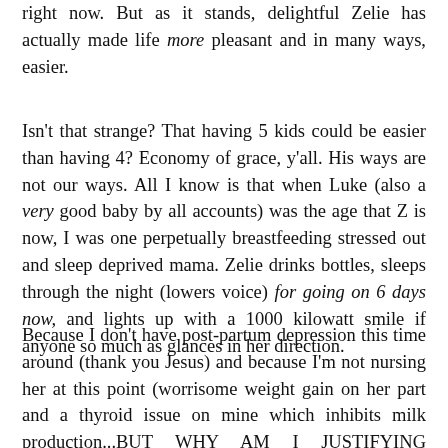right now. But as it stands, delightful Zelie has actually made life more pleasant and in many ways, easier.
Isn't that strange? That having 5 kids could be easier than having 4? Economy of grace, y'all. His ways are not our ways. All I know is that when Luke (also a very good baby by all accounts) was the age that Z is now, I was one perpetually breastfeeding stressed out and sleep deprived mama. Zelie drinks bottles, sleeps through the night (lowers voice) for going on 6 days now, and lights up with a 1000 kilowatt smile if anyone so much as glances in her direction.
Because I don't have post-partum depression this time around (thank you Jesus) and because I'm not nursing her at this point (worrisome weight gain on her part and a thyroid issue on mine which inhibits milk production...BUT WHY AM I JUSTIFYING MYSELF TO THE INTERNET? Oh yes, because breastfeeding is often mistaken for a moral